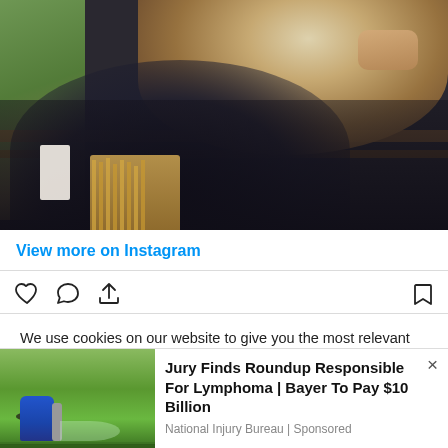[Figure (photo): Person in dark jacket holding a bowl of noodle soup up to their mouth, seated at a wooden table near a window with green foliage visible outside. Wooden chopstick holders visible in foreground.]
View more on Instagram
[Figure (other): Instagram action icons: heart, comment, share, bookmark]
We use cookies on our website to give you the most relevant experience by remembering your preferences and repeat visits. By clicking "Accept All", you consent to the use of ALL the cookies. However, you may visit "Cookie Settings" to provide a controlled consent.
[Figure (photo): Advertisement photo showing a farmer in blue jacket and hat spraying pesticide on a green field]
Jury Finds Roundup Responsible For Lymphoma | Bayer To Pay $10 Billion
National Injury Bureau | Sponsored